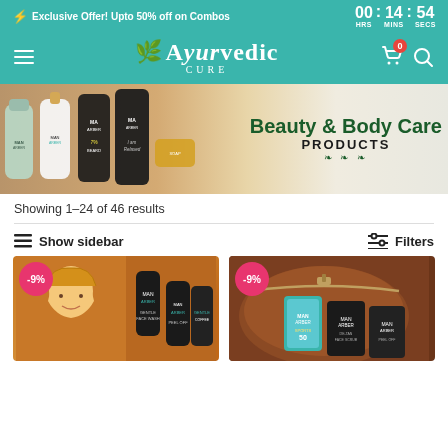⚡ Exclusive Offer! Upto 50% off on Combos  00 : 14 : 54  HRS MINS SECS
[Figure (logo): Ayurvedic Cure logo with leaf icon, teal background, cart with badge 0, search icon, and hamburger menu]
[Figure (photo): Banner showing Man Arden beauty and body care products with text 'Beauty & Body Care PRODUCTS']
Showing 1–24 of 46 results
≡ Show sidebar     Filters
[Figure (photo): Product card with -9% badge showing Man Arden face care gift set in brown box with illustrated man character]
[Figure (photo): Product card with -9% badge showing Man Arden sports combo kit in brown leather pouch with SPF 50 sunscreen, face scrub and peel off products]